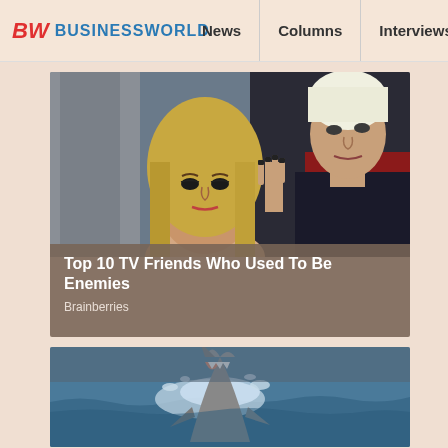BW BUSINESSWORLD | News | Columns | Interviews | BW
[Figure (photo): Two people (a blonde woman and a man with platinum hair) in a dramatic scene — TV show Buffy the Vampire Slayer]
Top 10 TV Friends Who Used To Be Enemies
Brainberries
[Figure (photo): A great white shark jumping out of the ocean water with its mouth open]